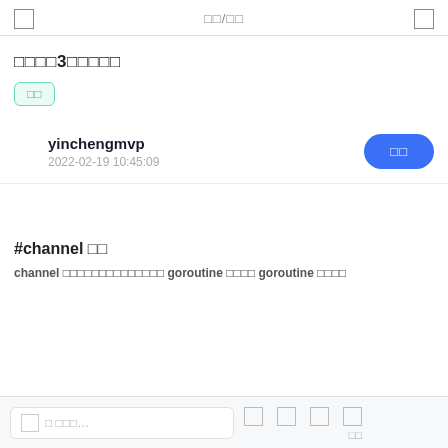□  □□/□□  □
□□□□3□□□□□
□□
yinchengmvp
2022-02-19 10:45:09
#channel □□
channel □□□□□□□□□□□□□□ goroutine □□□□ goroutine □□□□